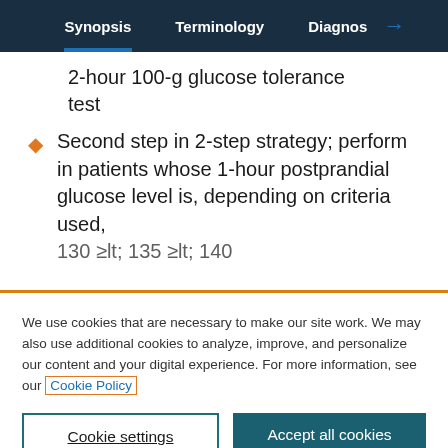Synopsis | Terminology | Diagnos →
2-hour 100-g glucose tolerance test
Second step in 2-step strategy; perform in patients whose 1-hour postprandial glucose level is, depending on criteria used, 130 or ≥135 or ≥140
We use cookies that are necessary to make our site work. We may also use additional cookies to analyze, improve, and personalize our content and your digital experience. For more information, see our Cookie Policy
Cookie settings
Accept all cookies